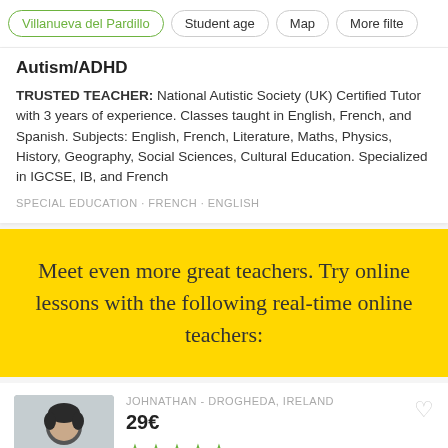Villanueva del Pardillo · Student age · Map · More filte
Autism/ADHD
TRUSTED TEACHER: National Autistic Society (UK) Certified Tutor with 3 years of experience. Classes taught in English, French, and Spanish. Subjects: English, French, Literature, Maths, Physics, History, Geography, Social Sciences, Cultural Education. Specialized in IGCSE, IB, and French
SPECIAL EDUCATION · FRENCH · ENGLISH
Meet even more great teachers. Try online lessons with the following real-time online teachers:
JOHNATHAN - DROGHEDA, IRELAND
29€
★★★★★
Learn English one to one with a Native English Speaker